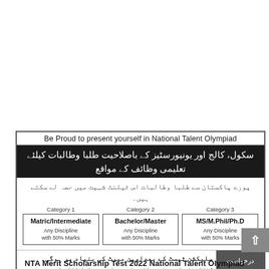[Figure (infographic): Advertisement for NTA Merit Scholarship Test 2022 National Talent Olympiad. Contains English header 'Be Proud to present yourself in National Talent Olympiad', Urdu header text about schools, colleges and universities, three category boxes (Category 1: Matric/Intermediate Any Discipline with 50% Marks, Category 2: Bachelor/Master Any Discipline with 50% Marks, Category 3: MS/M.Phil/Ph.D Any Discipline with 50% Marks), Urdu body text about selection test and merit, and a dark sidebar with Urdu text about application deadline.]
NTA Merit Scholarship Test 2022 National Talent Olympiad